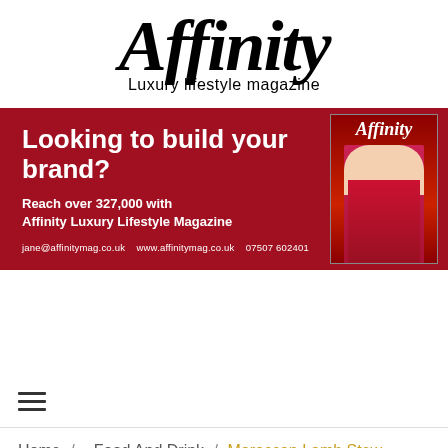Affinity Luxury lifestyle magazine
[Figure (infographic): Red advertising banner for Affinity Luxury Lifestyle Magazine. Text: 'Looking to build your brand? Reach over 327,000 with Affinity Luxury Lifestyle Magazine. jane@affinitymag.co.uk  www.affinitymag.co.uk  07507 602401'. Magazine cover image on right side.]
Home  /   - Food And Drink  /  Moroccan Lamb Stew